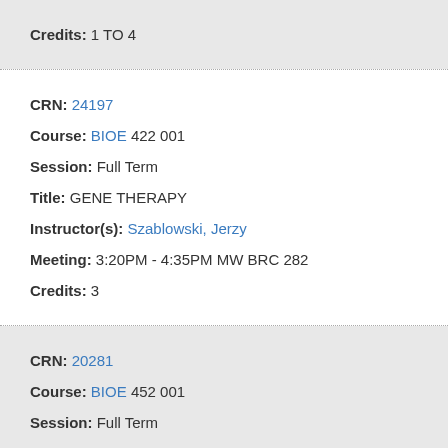Credits: 1 TO 4
CRN: 24197
Course: BIOE 422 001
Session: Full Term
Title: GENE THERAPY
Instructor(s): Szablowski, Jerzy
Meeting: 3:20PM - 4:35PM MW BRC 282
Credits: 3
CRN: 20281
Course: BIOE 452 001
Session: Full Term